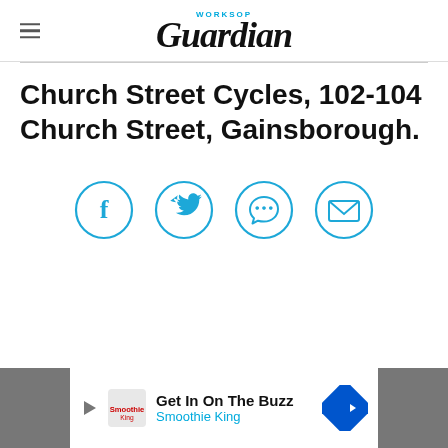WORKSOP Guardian
Church Street Cycles, 102-104 Church Street, Gainsborough.
[Figure (infographic): Four circular social share icons in blue outline: Facebook (f), Twitter (bird), WhatsApp (phone in chat bubble), Email (envelope)]
[Figure (infographic): Advertisement banner: Smoothie King - Get In On The Buzz]